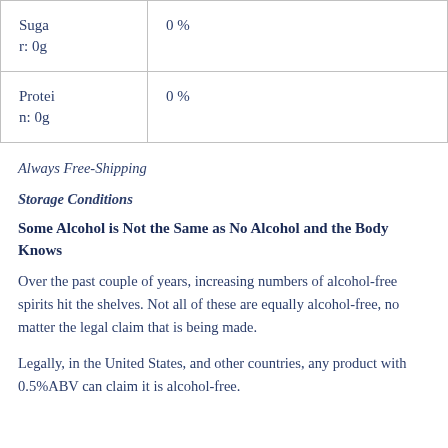|  |  |
| --- | --- |
| Sugar: 0g | 0 % |
| Protein: 0g | 0 % |
Always Free-Shipping
Storage Conditions
Some Alcohol is Not the Same as No Alcohol and the Body Knows
Over the past couple of years, increasing numbers of alcohol-free spirits hit the shelves. Not all of these are equally alcohol-free, no matter the legal claim that is being made.
Legally, in the United States, and other countries, any product with 0.5%ABV can claim it is alcohol-free.